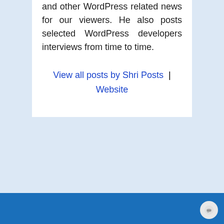and other WordPress related news for our viewers. He also posts selected WordPress developers interviews from time to time.
View all posts by Shri Posts | Website